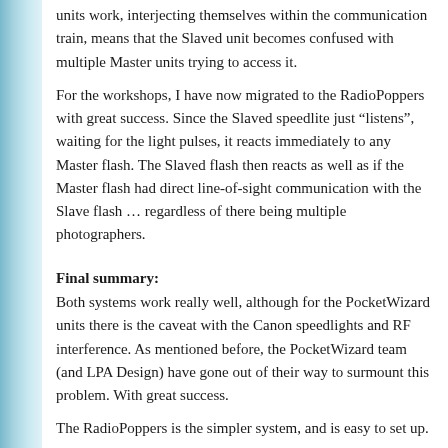units work, interjecting themselves within the communication train, means that the Slaved unit becomes confused with multiple Master units trying to access it.
For the workshops, I have now migrated to the RadioPoppers with great success. Since the Slaved speedlite just “listens”, waiting for the light pulses, it reacts immediately to any Master flash. The Slaved flash then reacts as well as if the Master flash had direct line-of-sight communication with the Slave flash … regardless of there being multiple photographers.
Final summary:
Both systems work really well, although for the PocketWizard units there is the caveat with the Canon speedlights and RF interference. As mentioned before, the PocketWizard team (and LPA Design) have gone out of their way to surmount this problem. With great success.
The RadioPoppers is the simpler system, and is easy to set up.